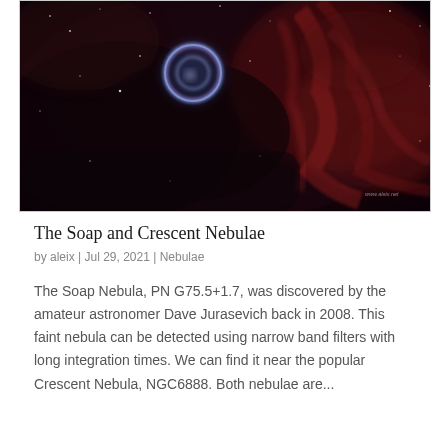[Figure (photo): Astronomical photograph of the Soap and Crescent Nebulae showing deep red and purple nebulosity with a prominent circular blue-purple structure (Soap Bubble Nebula / PN G75.5+1.7) near the center-left, and sweeping red filaments (Crescent Nebula NGC6888) on the right. Small watermark text visible in lower right corner.]
The Soap and Crescent Nebulae
by aleix | Jul 29, 2021 | Nebulae
The Soap Nebula, PN G75.5+1.7, was discovered by the amateur astronomer Dave Jurasevich back in 2008. This faint nebula can be detected using narrow band filters with long integration times. We can find it near the popular Crescent Nebula, NGC6888. Both nebulae are...